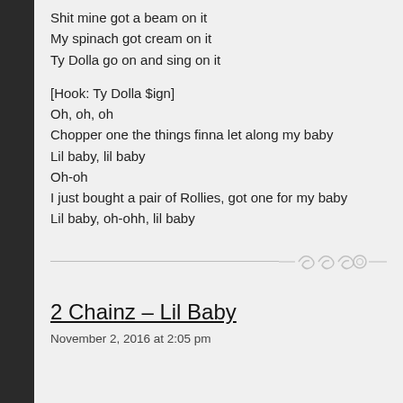Shit mine got a beam on it
My spinach got cream on it
Ty Dolla go on and sing on it
[Hook: Ty Dolla $ign]
Oh, oh, oh
Chopper one the things finna let along my baby
Lil baby, lil baby
Oh-oh
I just bought a pair of Rollies, got one for my baby
Lil baby, oh-ohh, lil baby
[Figure (illustration): Decorative ornamental divider with a horizontal line and a stylized swirl/flourish ornament in the center-right area]
2 Chainz – Lil Baby
November 2, 2016 at 2:05 pm